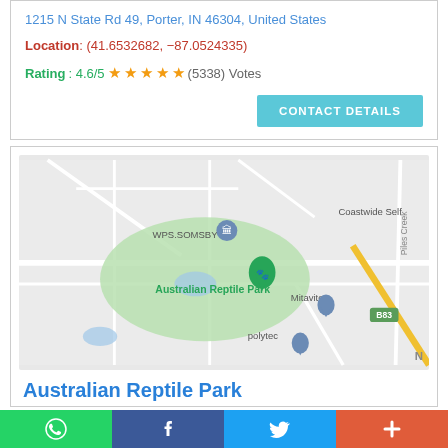1215 N State Rd 49, Porter, IN 46304, United States
Location: (41.6532682, -87.0524335)
Rating: 4.6/5 ★★★★★ (5338) Votes
CONTACT DETAILS
[Figure (map): Google Maps screenshot showing Australian Reptile Park area with WPS.SOMSBY label, Mitavite, polytec, Coastwide Self, Piles Creek road label, and B83 road badge. Green park area visible.]
Australian Reptile Park
WhatsApp | Facebook | Twitter | +